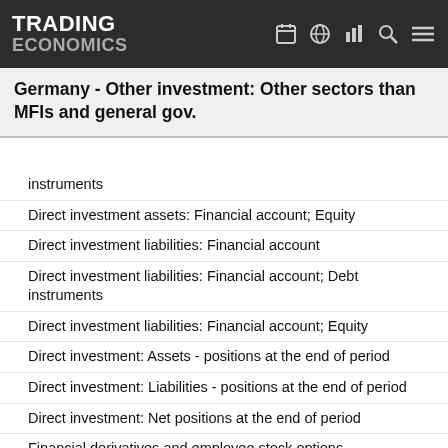TRADING ECONOMICS
Germany - Other investment: Other sectors than MFIs and general gov.
instruments
Direct investment assets: Financial account; Equity
Direct investment liabilities: Financial account
Direct investment liabilities: Financial account; Debt instruments
Direct investment liabilities: Financial account; Equity
Direct investment: Assets - positions at the end of period
Direct investment: Liabilities - positions at the end of period
Direct investment: Net positions at the end of period
Financial derivatives and employee stock options
Financial derivatives and employee stock options: Assets - positions at the end of period
Financial derivatives and employee stock options: Deposit-taking corporations except the central bank
Financial derivatives and employee stock options: Financial Corporations other than MFIs
Financial derivatives and employee stock options: General